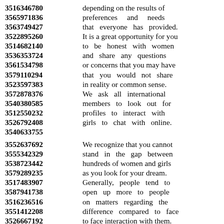3516346780 depending on the results of
3565971836 preferences and needs
3563749427 that everyone has provided.
3522895260 It is a great opportunity for you
3514682140 to be honest with women
3536353724 and share any questions
3561534798 or concerns that you may have
3579110294 that you would not share
3523597383 in reality or common sense.
3572878376 We ask all international
3540380585 members to look out for
3512550232 profiles to interact with
3526792408 girls to chat with online.
3540633755
3552637692 We recognize that you cannot
3555342329 stand in the gap between
3538723442 hundreds of women and girls
3579289235 as you look for your dream.
3517483907 Generally, people tend to
3587941738 open up more to people
3516236516 on matters regarding the
3551412208 difference compared to face
3526667192 to face interaction with them.
3572664348 We are making it easy for you
3558381971 to find women seeking men